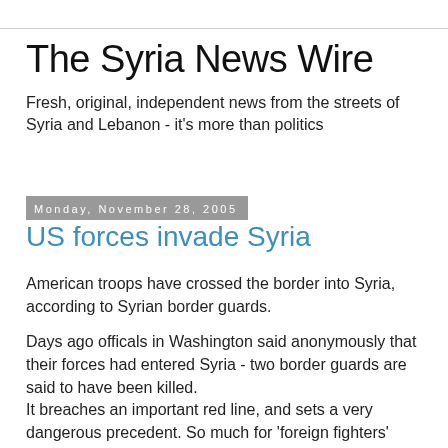The Syria News Wire
Fresh, original, independent news from the streets of Syria and Lebanon - it's more than politics
Monday, November 28, 2005
US forces invade Syria
American troops have crossed the border into Syria, according to Syrian border guards.
Days ago officals in Washington said anonymously that their forces had entered Syria - two border guards are said to have been killed.
It breaches an important red line, and sets a very dangerous precedent. So much for 'foreign fighters' crossing the Syrian-Iraq border: isn't this exactly the same situation?